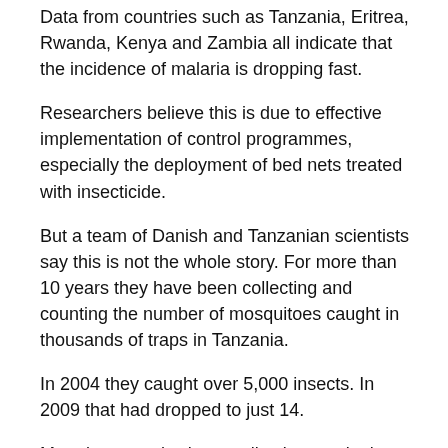Data from countries such as Tanzania, Eritrea, Rwanda, Kenya and Zambia all indicate that the incidence of malaria is dropping fast.
Researchers believe this is due to effective implementation of control programmes, especially the deployment of bed nets treated with insecticide.
But a team of Danish and Tanzanian scientists say this is not the whole story. For more than 10 years they have been collecting and counting the number of mosquitoes caught in thousands of traps in Tanzania.
In 2004 they caught over 5,000 insects. In 2009 that had dropped to just 14.
More importantly, these collections took place in villages that weren't using bed nets.